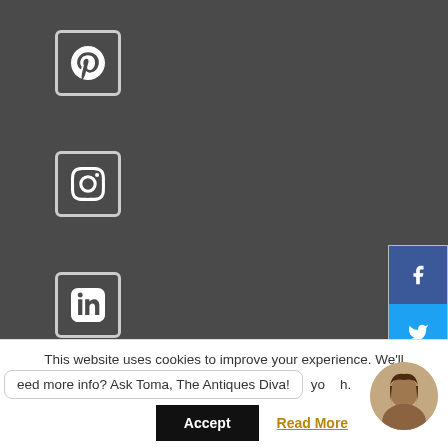[Figure (screenshot): Dark grey background with social media icons (Pinterest, Instagram, LinkedIn, Google+) on the left sidebar, and a floating share widget on the right with Facebook, Twitter, Pinterest, and Email buttons]
This website uses cookies to improve your experience. We'll
eed more info? Ask Toma, The Antiques Diva! yo h.
Accept
Read More